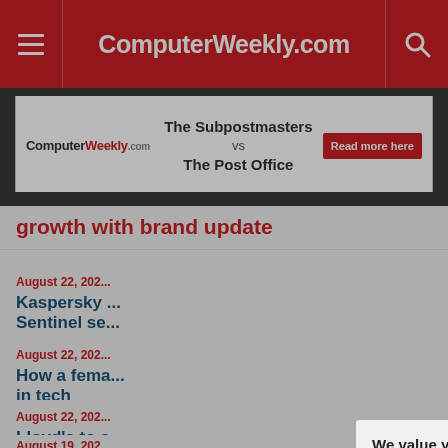ComputerWeekly.com
[Figure (infographic): Advertisement banner: ComputerWeekly.com logo on left, center text 'The Subpostmasters vs The Post Office', red 'Read more here' button on right]
growth with brand update
August 22, 202...
Kaspersky ... Sentinel se...
August 22, 202...
How a fema... in tech
August 22, 202...
Lloyd's to c... cyber attac...
August 19, 202...
We value your privacy.

TechTarget and its partners employ cookies to improve your experience on our site, to analyze traffic and performance, and to serve personalized content and advertising that are relevant to your professional interests. You can manage your settings at any time. Please view our Privacy Policy for more information